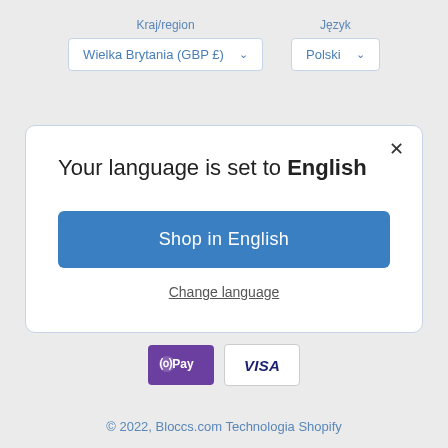Kraj/region
Wielka Brytania (GBP £) ∨
Język
Polski ∨
Your language is set to English
Shop in English
Change language
[Figure (logo): OPay payment icon (purple background)]
[Figure (logo): VISA payment icon (white background)]
© 2022, Bloccs.com Technologia Shopify